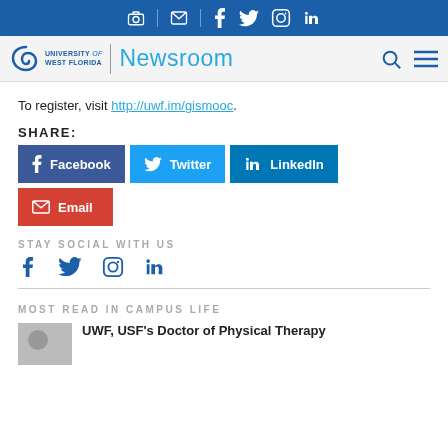University of West Florida Newsroom — social media icons header bar
[Figure (logo): University of West Florida Newsroom logo with spiral icon]
To register, visit http://uwf.im/gismooc.
SHARE:
Facebook, Twitter, LinkedIn, Email share buttons
STAY SOCIAL WITH US
Social media icons: Facebook, Twitter, Instagram, LinkedIn
MOST READ IN CAMPUS LIFE
UWF, USF's Doctor of Physical Therapy